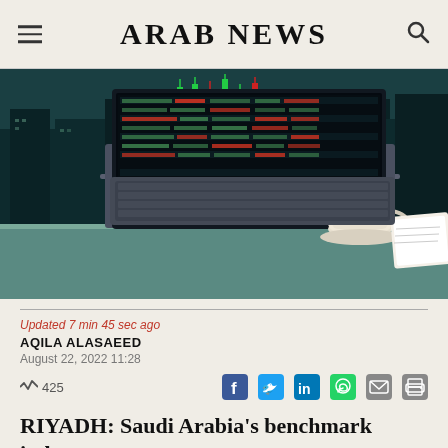ARAB NEWS
[Figure (photo): A laptop displaying stock market trading data on screen, placed on a table with a coffee cup and notebook, city skyline with financial charts visible through window in background at night]
Updated 7 min 45 sec ago
AQILA ALASAEED
August 22, 2022 11:28
425
RIYADH: Saudi Arabia's benchmark index